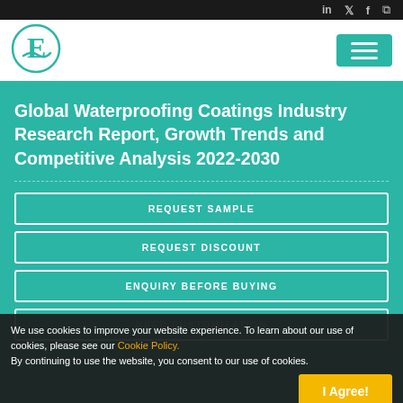Social media icons bar (LinkedIn, Twitter, Facebook, RSS)
[Figure (logo): Emergen Research logo: letter E in teal inside a circle, with stylized wave design]
Global Waterproofing Coatings Industry Research Report, Growth Trends and Competitive Analysis 2022-2030
REQUEST SAMPLE
REQUEST DISCOUNT
ENQUIRY BEFORE BUYING
NEED CUSTOMIZATION
We use cookies to improve your website experience. To learn about our use of cookies, please see our Cookie Policy. By continuing to use the website, you consent to our use of cookies.
I Agree!